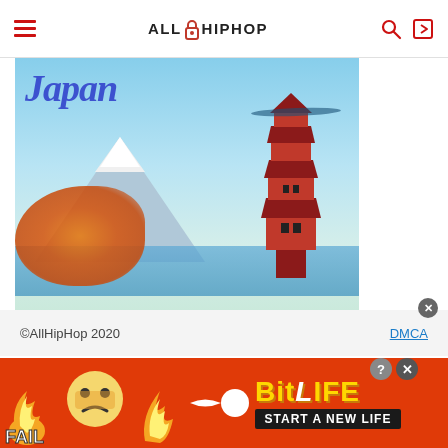ALLHIPHOP
[Figure (photo): Travel advertisement showing Japan scenery: Mount Fuji, red pagoda/temple, colorful autumn foliage, blue sky. Text 'Japan' in stylized blue script at the top.]
DISCOVER AMAZING TRAVEL SIDESTAGE.COM
©AllHipHop 2020    DMCA
[Figure (photo): BitLife game advertisement banner with fire, fail emoji, and 'START A NEW LIFE' text on red background.]